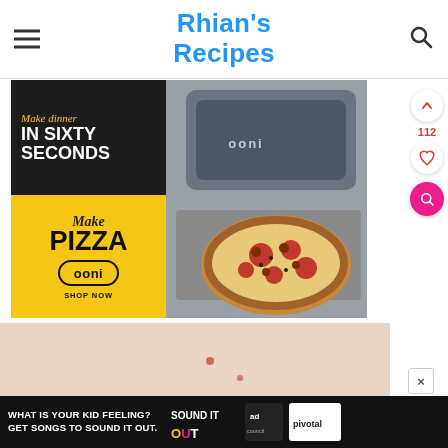Rhian's Recipes
[Figure (photo): Ooni pizza oven advertisement: 'Make dinner IN SIXTY SECONDS / Make PIZZA ooni SHOP NOW' with image of pizza on a metal peel]
[Figure (photo): Partial photo of a light-colored surface with small red dots, hands visible at bottom]
WHAT IS YOUR KID FEELING? GET SONGS TO SOUND IT OUT.